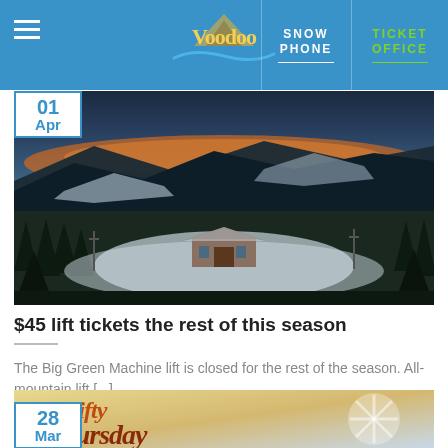Voodoo — SNOW PHONE | TICKET OFFICE
[Figure (photo): Aerial winter landscape of a ski resort at sunset showing snow-covered mountain slopes, forested hillsides, and a lodge building in the valley]
$45 lift tickets the rest of this season
The Big Green Machine lift is closed for the rest of the season. All-mountain lift [...]
[Figure (photo): Thrifty Thursday promotional graphic with orange cursive script on a warm gradient background with a snowflake design]